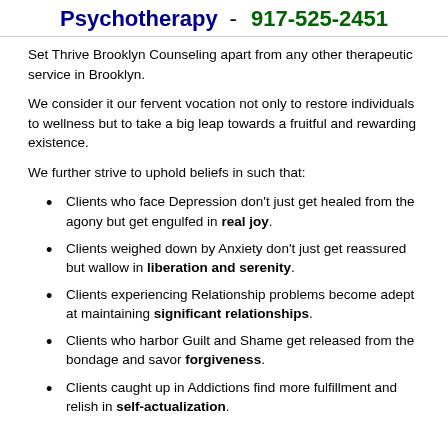Psychotherapy - 917-525-2451
Set Thrive Brooklyn Counseling apart from any other therapeutic service in Brooklyn.
We consider it our fervent vocation not only to restore individuals to wellness but to take a big leap towards a fruitful and rewarding existence.
We further strive to uphold beliefs in such that:
Clients who face Depression don't just get healed from the agony but get engulfed in real joy.
Clients weighed down by Anxiety don't just get reassured but wallow in liberation and serenity.
Clients experiencing Relationship problems become adept at maintaining significant relationships.
Clients who harbor Guilt and Shame get released from the bondage and savor forgiveness.
Clients caught up in Addictions find more fulfillment and relish in self-actualization.